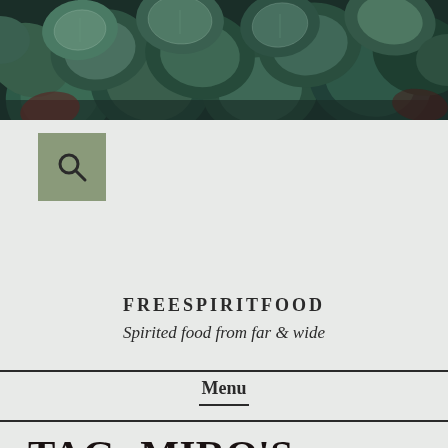[Figure (photo): Close-up photo of dark green succulent plants with rounded leaves, used as hero banner image]
[Figure (other): Search button icon - magnifying glass on sage green square background]
FREESPIRITFOOD
Spirited food from far & wide
Menu
TAG: MIRO'S GARDEN RESTAURANT